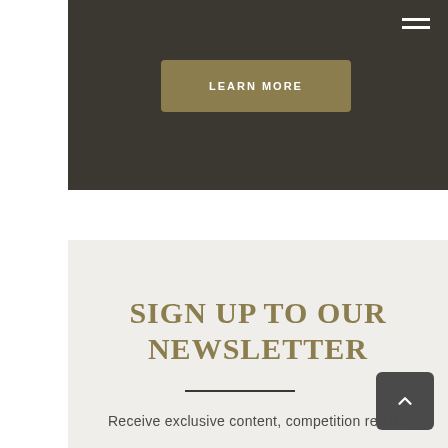[Figure (screenshot): LEARN MORE button on dark background]
SIGN UP TO OUR NEWSLETTER
Receive exclusive content, competition results